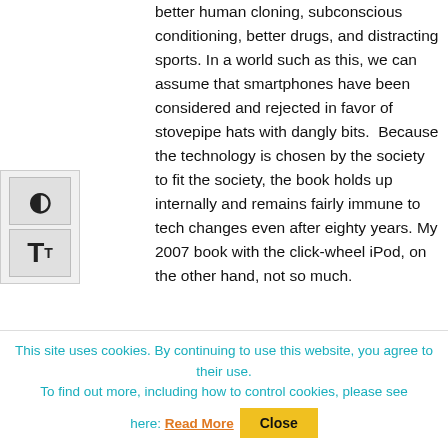better human cloning, subconscious conditioning, better drugs, and distracting sports. In a world such as this, we can assume that smartphones have been considered and rejected in favor of stovepipe hats with dangly bits.  Because the technology is chosen by the society to fit the society, the book holds up internally and remains fairly immune to tech changes even after eighty years. My 2007 book with the click-wheel iPod, on the other hand, not so much.
This site uses cookies. By continuing to use this website, you agree to their use.
To find out more, including how to control cookies, please see here: Read More